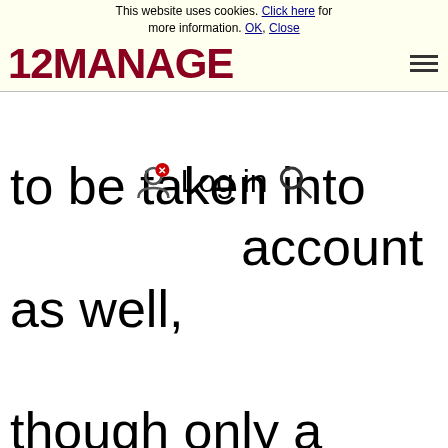This website uses cookies. Click here for more information. OK, Close
[Figure (logo): 12MANAGE logo in dark red/maroon bold text with hamburger menu icon]
to be taken into Log in account as well, though only a small percentage with complaints will actually complain to the company